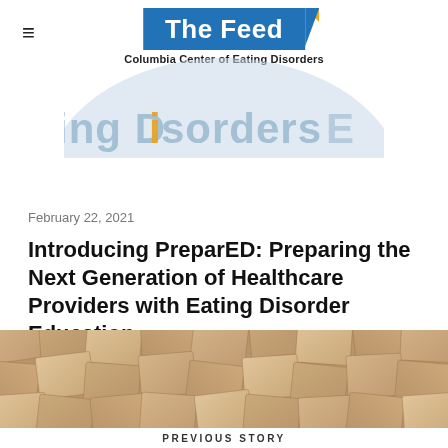The Feed — Columbia Center of Eating Disorders
February 22, 2021
Introducing PreparED: Preparing the Next Generation of Healthcare Providers with Eating Disorder Education
[Figure (photo): Overhead view of scattered wooden blocks/cubes arranged closely together]
PREVIOUS STORY